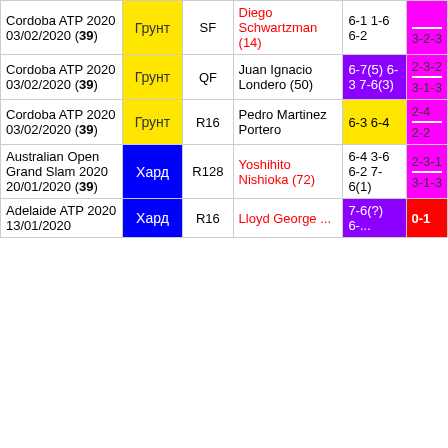| Tournament | Surface | Round | Opponent | Score | W-L |
| --- | --- | --- | --- | --- | --- |
| Cordoba ATP 2020 03/02/2020 (39) | Грунт | SF | Diego Schwartzman (14) | 6-1 1-6 6-2 | 3-2-3 |
| Cordoba ATP 2020 03/02/2020 (39) | Грунт | QF | Juan Ignacio Londero (50) | 6-7(5) 6-3 7-6(3) | 2-3-2 / 3-1-3 |
| Cordoba ATP 2020 03/02/2020 (39) | Грунт | R16 | Pedro Martinez Portero | 6-3 6-4 | 2-4 / 2-2 |
| Australian Open Grand Slam 2020 20/01/2020 (39) | Хард | R128 | Yoshihito Nishioka (72) | 6-4 3-6 6-2 7-6(1) | 2-3-1 / 3-1-3 |
| Adelaide ATP 2020 13/01/2020 | Хард | R16 | Lloyd George ... | 7-6(?) 6-... | 0-1 |